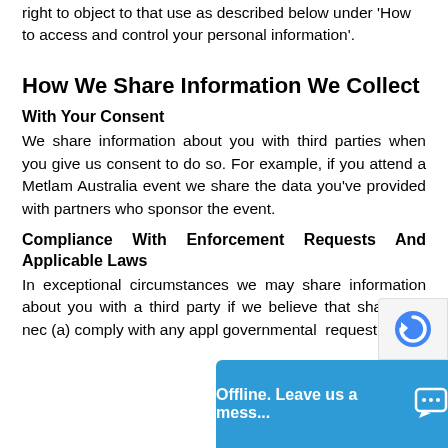right to object to that use as described below under 'How to access and control your personal information'.
How We Share Information We Collect
With Your Consent
We share information about you with third parties when you give us consent to do so. For example, if you attend a Metlam Australia event we share the data you've provided with partners who sponsor the event.
Compliance With Enforcement Requests And Applicable Laws
In exceptional circumstances we may share information about you with a third party if we believe that sharing is nec (a) comply with any appl governmental request.